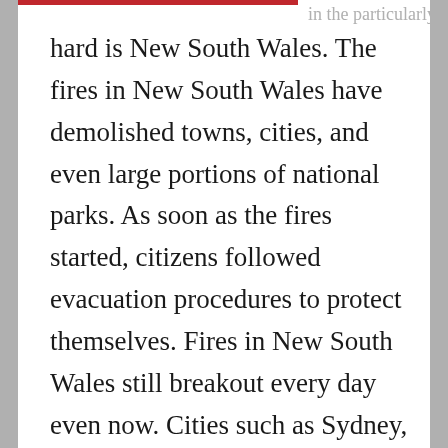hard is New South Wales. The fires in New South Wales have demolished towns, cities, and even large portions of national parks. As soon as the fires started, citizens followed evacuation procedures to protect themselves. Fires in New South Wales still breakout every day even now. Cities such as Sydney, Australia are hazy from the fires but are not facing damage as bad as the National Parks and natural terrain.